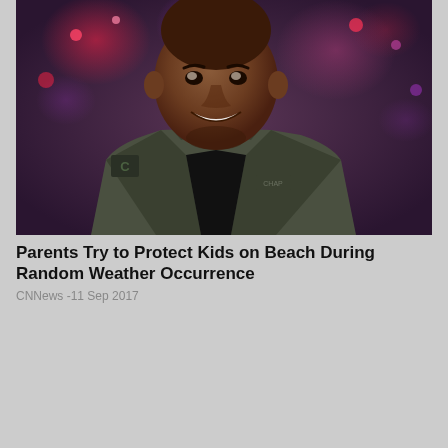[Figure (photo): A smiling man wearing a dark olive/grey military-style jacket over a black shirt, seated in what appears to be a TV studio with blurred colorful bokeh lights in the background.]
Parents Try to Protect Kids on Beach During Random Weather Occurrence
CNNews -11 Sep 2017